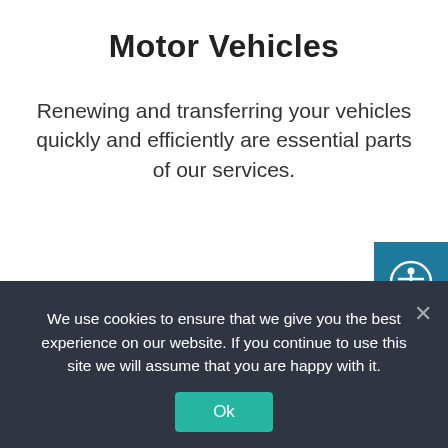Motor Vehicles
Renewing and transferring your vehicles quickly and efficiently are essential parts of our services.
[Figure (illustration): Teal/blue icon combining a money/bill symbol with an hourglass, representing payment and time efficiency for motor vehicle services.]
[Figure (illustration): Accessibility icon button (person with outstretched arms in a circle) on a teal background, positioned in the upper right corner.]
We use cookies to ensure that we give you the best experience on our website. If you continue to use this site we will assume that you are happy with it.